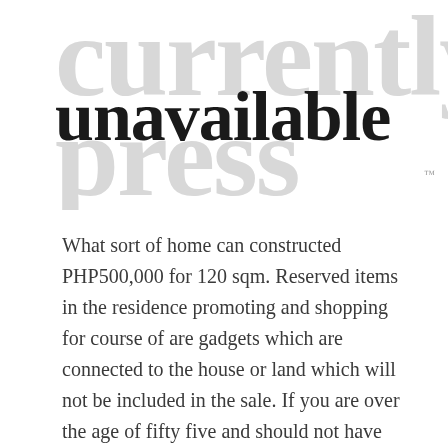[Figure (illustration): Watermark logo text in large light gray letters reading 'currently press' overlapping in background, with 'unavailable' in large dark bold text overlaid on top, and a small TM mark.]
What sort of home can constructed PHP500,000 for 120 sqm. Reserved items in the residence promoting and shopping for course of are gadgets which are connected to the house or land which will not be included in the sale. If you are over the age of fifty five and should not have younger people dwelling in your house, then a fifty five+ group is likely to be a good solution for you.